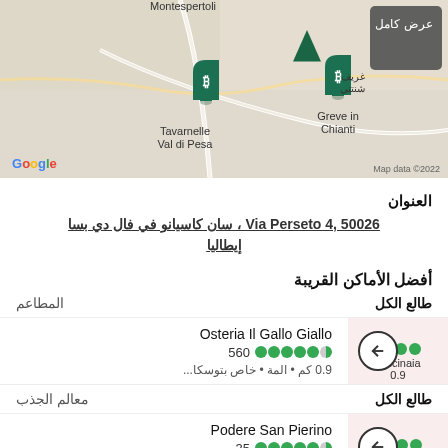[Figure (map): Google Maps screenshot showing area around Tavarnelle Val di Pesa and Greve in Chianti with hotel markers and Arabic overlay text showing full view option]
العنوان
Via Perseto 4, 50026 ، سان كاسيانو في فال دي بسا إيطاليا
أفضل الأماكن القريبة
المطاعم
طالع الكل
Osteria Il Gallo Giallo
560  ●●●●●◑  0.9 كم • المة • خاص بتوسكا...
Calcinaia  0.9
معالم الجذب
طالع الكل
Podere San Pierino
35  ●●●●●◑  1.3 كم • مصانع نبيذ ومزارك...
ola Altiero  • مصیده